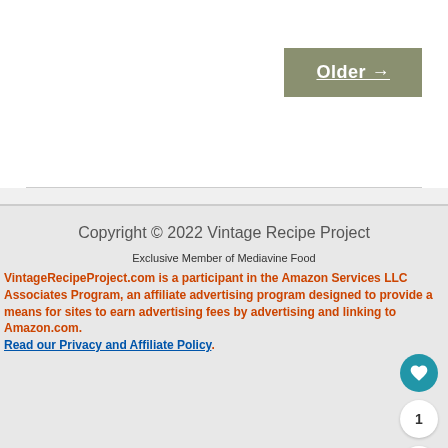Older →
Copyright © 2022 Vintage Recipe Project
Exclusive Member of Mediavine Food
VintageRecipeProject.com is a participant in the Amazon Services LLC Associates Program, an affiliate advertising program designed to provide a means for sites to earn advertising fees by advertising and linking to Amazon.com. Read our Privacy and Affiliate Policy.